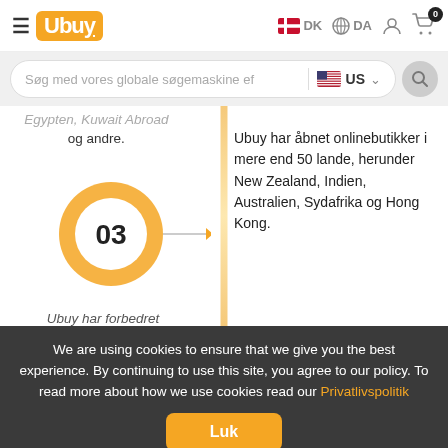Ubuy — DK DA — Cart 0
Søg med vores globale søgemaskine ef — US
Egypten, Kuwait Abroad og andre.
[Figure (illustration): Step 03 circular orange badge with arrow pointing right toward center timeline]
Ubuy har åbnet onlinebutikker i mere end 50 lande, herunder New Zealand, Indien, Australien, Sydafrika og Hong Kong.
Ubuy har forbedret
We are using cookies to ensure that we give you the best experience. By continuing to use this site, you agree to our policy. To read more about how we use cookies read our Privatlivspolitik
Luk